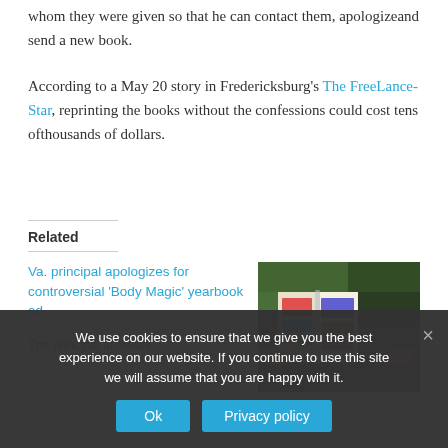whom they were given so that he can contact them, apologizeand send a new book.
According to a May 20 story in Fredericksburg's The FreeLance-Star, reprinting the books without the confessions could cost tens ofthousands of dollars.
Related
Va. principal apologizes for controversial 'Body Magic' yearbook ad
The principal at Mount
[Figure (photo): Photo of hands holding an open colorful book or magazine, with a pink bracelet visible on one wrist]
We use cookies to ensure that we give you the best experience on our website. If you continue to use this site we will assume that you are happy with it.